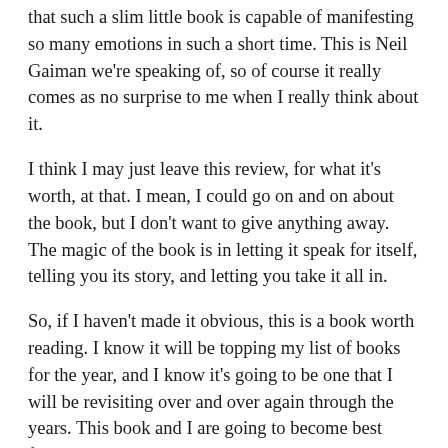that such a slim little book is capable of manifesting so many emotions in such a short time. This is Neil Gaiman we're speaking of, so of course it really comes as no surprise to me when I really think about it.
I think I may just leave this review, for what it's worth, at that. I mean, I could go on and on about the book, but I don't want to give anything away. The magic of the book is in letting it speak for itself, telling you its story, and letting you take it all in.
So, if I haven't made it obvious, this is a book worth reading. I know it will be topping my list of books for the year, and I know it's going to be one that I will be revisiting over and over again through the years. This book and I are going to become best friends.
Go and read it. Read it again. You won't be sorry.
Also, check out my post on the night I met Neil Gaiman for his signing of The Ocean at the End of the Lane. The man is a rock star in the writing world.